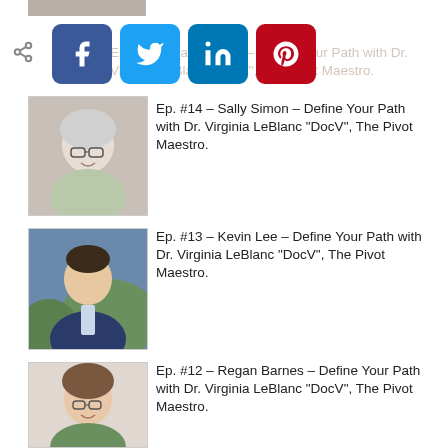[Figure (screenshot): Social media share icons: Facebook (blue), Twitter (light blue), LinkedIn (dark blue), Pinterest (red), with a share/forward icon on the left]
Ep. #14 – Sally Simon – Define Your Path with Dr. Virginia LeBlanc "DocV", The Pivot Maestro.
[Figure (photo): Photo of a woman with curly grey hair and glasses, smiling, wearing a green top]
Ep. #14 – Sally Simon – Define Your Path with Dr. Virginia LeBlanc "DocV", The Pivot Maestro.
[Figure (photo): Photo of a man in a blue suit, looking upward, outdoors with greenery in background]
Ep. #13 – Kevin Lee – Define Your Path with Dr. Virginia LeBlanc "DocV", The Pivot Maestro.
[Figure (photo): Photo of a woman with glasses and brown hair, smiling, wearing a green top]
Ep. #12 – Regan Barnes – Define Your Path with Dr. Virginia LeBlanc "DocV", The Pivot Maestro.